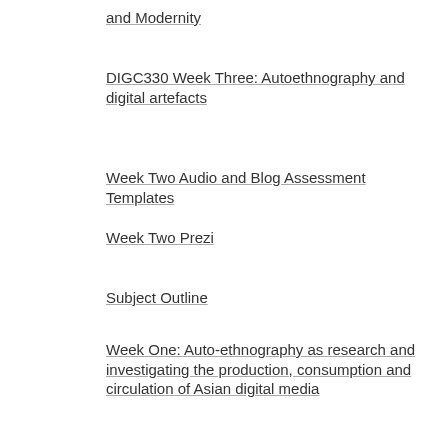and Modernity
DIGC330 Week Three: Autoethnography and digital artefacts
Week Two Audio and Blog Assessment Templates
Week Two Prezi
Subject Outline
Week One: Auto-ethnography as research and investigating the production, consumption and circulation of Asian digital media
[Figure (logo): Purple avatar with geometric quilt-like pattern]
Dimitri Lignos
The Iron Chef Experience
Bridging the Gap
Trapped in Korean Rap
Understanding Autoethnography